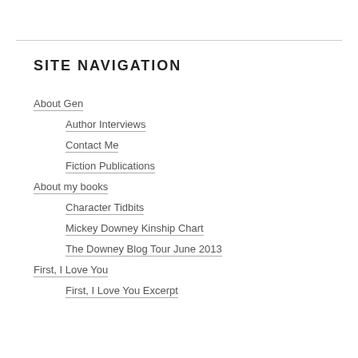SITE NAVIGATION
About Gen
Author Interviews
Contact Me
Fiction Publications
About my books
Character Tidbits
Mickey Downey Kinship Chart
The Downey Blog Tour June 2013
First, I Love You
First, I Love You Excerpt